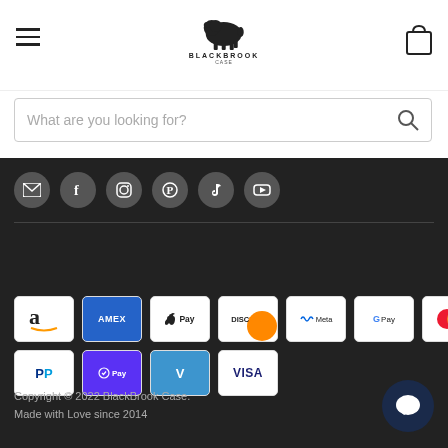[Figure (logo): BlackBrook Case logo with bison icon and hamburger menu, shopping bag icon]
What are you looking for?
[Figure (infographic): Social media icons: email, Facebook, Instagram, Pinterest, TikTok, YouTube]
[Figure (infographic): Payment method icons: Amazon, AMEX, Apple Pay, Discover, Meta Pay, Google Pay, Mastercard, PayPal, Shop Pay, Venmo, Visa]
Copyright © 2022 BlackBrook Case.
Made with Love since 2014